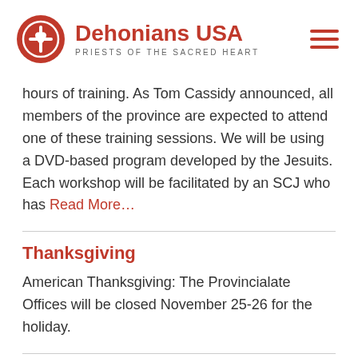Dehonians USA – PRIESTS OF THE SACRED HEART
hours of training. As Tom Cassidy announced, all members of the province are expected to attend one of these training sessions. We will be using a DVD-based program developed by the Jesuits. Each workshop will be facilitated by an SCJ who has Read More…
Thanksgiving
American Thanksgiving:  The Provincialate Offices will be closed November 25-26 for the holiday.
Next Page »